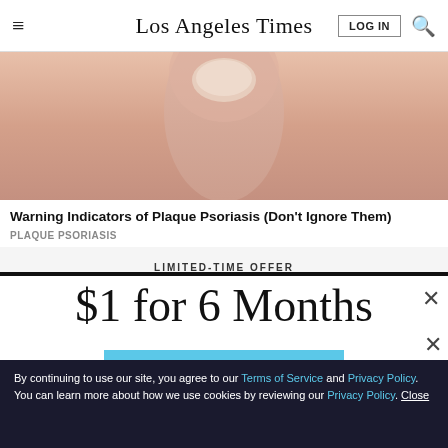Los Angeles Times
[Figure (photo): Close-up photo of skin showing plaque psoriasis symptoms]
Warning Indicators of Plaque Psoriasis (Don't Ignore Them)
PLAQUE PSORIASIS
LIMITED-TIME OFFER
$1 for 6 Months
SUBSCRIBE NOW
By continuing to use our site, you agree to our Terms of Service and Privacy Policy. You can learn more about how we use cookies by reviewing our Privacy Policy. Close